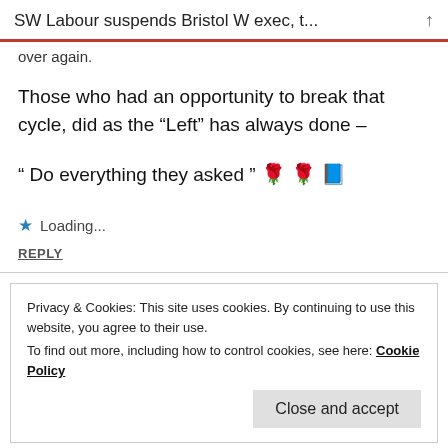SW Labour suspends Bristol W exec, t...
over again.
Those who had an opportunity to break that cycle, did as the “Left” has always done –
“ Do everything they asked ” 🌹 🌹 📘
Loading...
REPLY
Privacy & Cookies: This site uses cookies. By continuing to use this website, you agree to their use. To find out more, including how to control cookies, see here: Cookie Policy
Close and accept